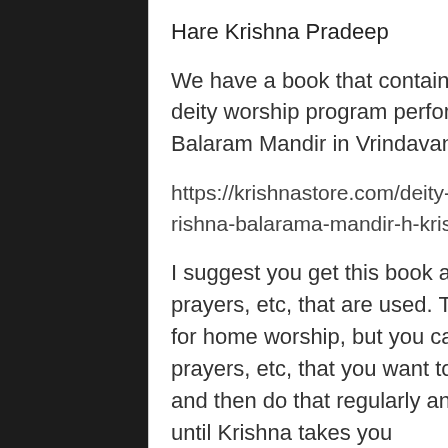Hare Krishna Pradeep
We have a book that contains the full details of the deity worship program performed at ISKCON Krishna Balaram Mandir in Vrindavan:
https://krishnastore.com/deity-worship-manual-from-sri-krishna-balarama-mandir-h-krishna-1783.html
I suggest you get this book and you will see all the prayers, etc, that are used. There are too many things for home worship, but you can select out of this the prayers, etc, that you want to use in your daily pooja and then do that regularly and punctually every day until Krishna takes you